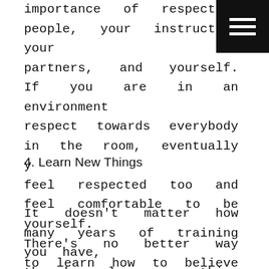importance of respecting people, your instructor, your partners, and yourself. If you are in an environment respect towards everybody in the room, eventually you feel respected too and feel comfortable to be yourself. There's no better way to learn how to believe in yourself than being comfortable with who you are.
4. Learn New Things
It doesn't matter how many years of training you have, there's always something new to learn and martial arts let you do that. There's always a new way of doing a technique or acquire a new skill re-establish your limits